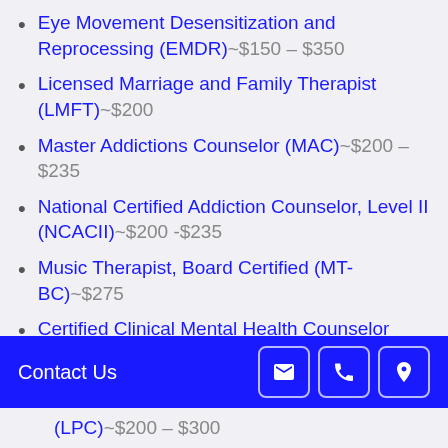Eye Movement Desensitization and Reprocessing (EMDR)~$150 – $350
Licensed Marriage and Family Therapist (LMFT)~$200
Master Addictions Counselor (MAC)~$200 – $235
National Certified Addiction Counselor, Level II (NCACII)~$200 -$235
Music Therapist, Board Certified (MT-BC)~$275
Certified Clinical Mental Health Counselor (CCMHC)
National Certified Counselor (NCC) ... (LPC)~$200 – $300